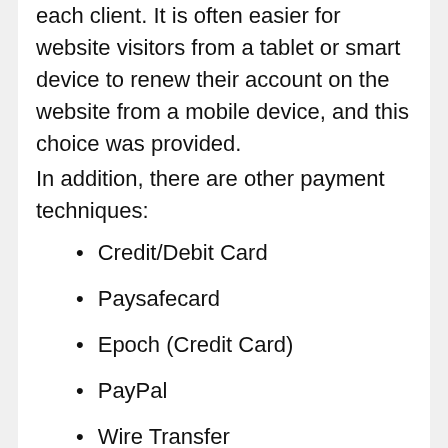each client. It is often easier for website visitors from a tablet or smart device to renew their account on the website from a mobile device, and this choice was provided.
In addition, there are other payment techniques:
Credit/Debit Card
Paysafecard
Epoch (Credit Card)
PayPal
Wire Transfer
Cryptocurrency